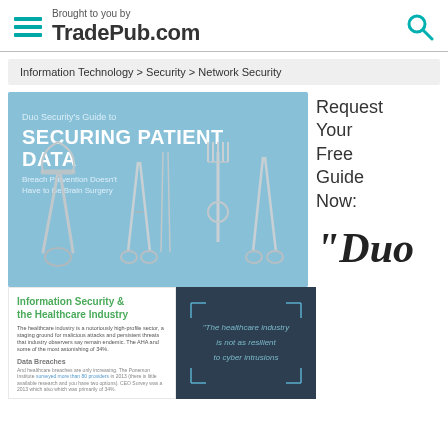Brought to you by TradePub.com
Information Technology > Security > Network Security
[Figure (photo): Cover of Duo Security's Guide to Securing Patient Data - showing surgical instruments on blue background with title text]
[Figure (photo): Preview of document interior showing 'Information Security & the Healthcare Industry' section with Data Breaches text]
[Figure (photo): Dark blue panel with quote: 'The healthcare industry is not as resilient to cyber intrusions']
Request Your Free Guide Now:
"Duo